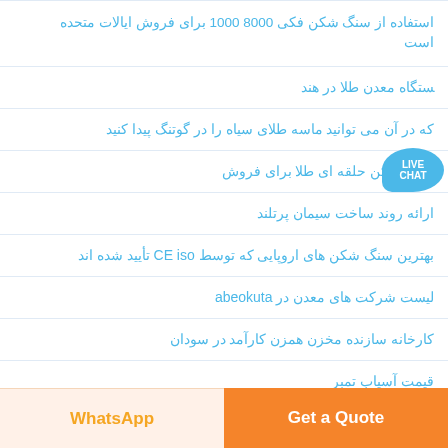استفاده از سنگ شکن فکی 1000 8000 برای فروش ایالات متحده است
ستگاه معدن طلا در هند
که در آن می توانید ماسه طلای سیاه را در گوتنگ پیدا کنید
سنگ شکن حلقه ای طلا برای فروش
ارائه روند ساخت سیمان پرتلند
بهترین سنگ شکن های اروپایی که توسط CE iso تأیید شده اند
لیست شرکت های معدن در abeokuta
کارخانه سازنده مخزن همزن کارآمد در سودان
قیمت آسیاب تمبر
سنگ شکن برای معدن کائولن
آسیاب های جکش برای فروش در ساسکاچوان
...